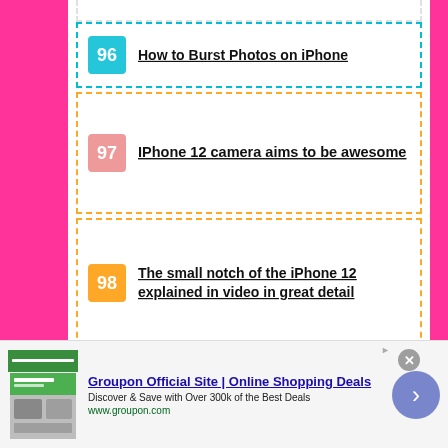96 How to Burst Photos on iPhone
97 IPhone 12 camera aims to be awesome
98 The small notch of the iPhone 12 explained in video in great detail
99 How to add and schedule
[Figure (screenshot): Groupon advertisement banner: Groupon Official Site | Online Shopping Deals. Discover & Save with Over 300k of the Best Deals. www.groupon.com]